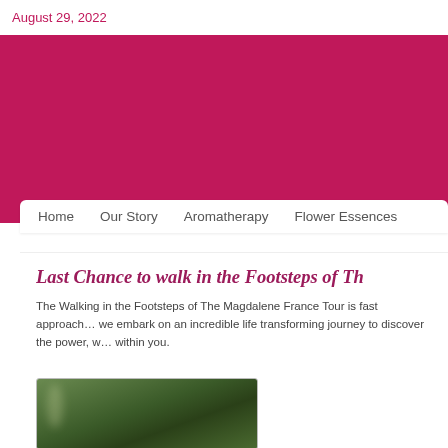August 29, 2022
[Figure (photo): Dark red/crimson hero banner image area]
Home    Our Story    Aromatherapy    Flower Essences
Last Chance to walk in the Footsteps of Th…
The Walking in the Footsteps of The Magdalene France Tour is fast approaching we embark on an incredible life transforming journey to discover the power, w… within you.
[Figure (photo): People walking in a lush green forested area]